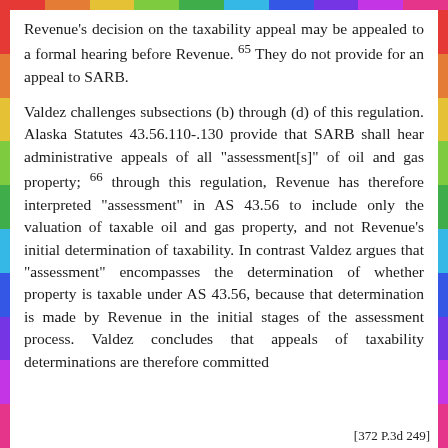Revenue's decision on the taxability appeal may be appealed to a formal hearing before Revenue. 65 They do not provide for an appeal to SARB.
Valdez challenges subsections (b) through (d) of this regulation. Alaska Statutes 43.56.110-.130 provide that SARB shall hear administrative appeals of all "assessment[s]" of oil and gas property; 66 through this regulation, Revenue has therefore interpreted "assessment" in AS 43.56 to include only the valuation of taxable oil and gas property, and not Revenue's initial determination of taxability. In contrast Valdez argues that "assessment" encompasses the determination of whether property is taxable under AS 43.56, because that determination is made by Revenue in the initial stages of the assessment process. Valdez concludes that appeals of taxability determinations are therefore committed
[372 P.3d 249]